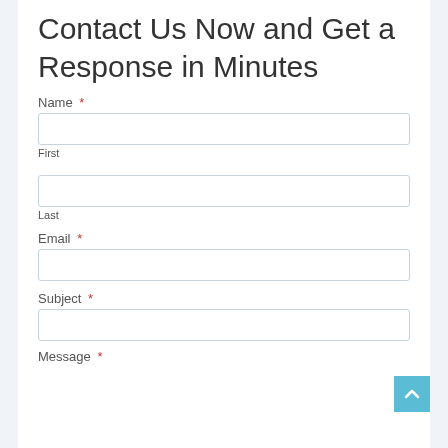Contact Us Now and Get a Response in Minutes
Name *
First
Last
Email *
Subject *
Message *